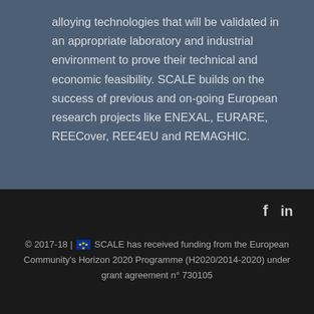alloying technologies that will be validated in an appropriate laboratory and industrial environment to prove their technical and economic feasibility. SCALE builds on the success of previous and on-going European research projects like ENEXAL, EURARE, REECover, REE4EU and REMAGHIC.
© 2017-18 | [EU flag] SCALE has received funding from the European Community's Horizon 2020 Programme (H2020/2014-2020) under grant agreement n° 730105